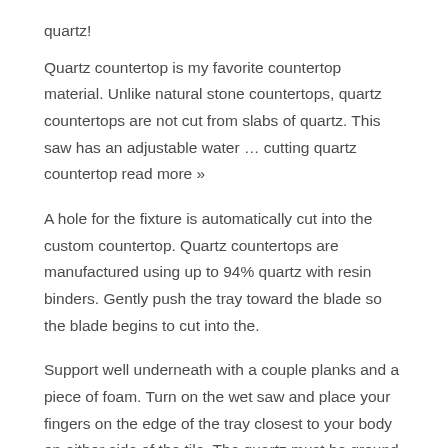quartz!
Quartz countertop is my favorite countertop material. Unlike natural stone countertops, quartz countertops are not cut from slabs of quartz. This saw has an adjustable water … cutting quartz countertop read more »
A hole for the fixture is automatically cut into the custom countertop. Quartz countertops are manufactured using up to 94% quartz with resin binders. Gently push the tray toward the blade so the blade begins to cut into the.
Support well underneath with a couple planks and a piece of foam. Turn on the wet saw and place your fingers on the edge of the tray closest to your body on either side of the tile. The quartz must be ground down into fine particulates and then mixed with resin to be used as a countertop.